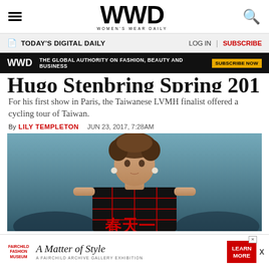WWD WOMEN'S WEAR DAILY
TODAY'S DIGITAL DAILY  LOG IN  |  SUBSCRIBE
WWD  THE GLOBAL AUTHORITY ON FASHION, BEAUTY AND BUSINESS  SUBSCRIBE NOW
Hugo Stenbring Spring 2018
For his first show in Paris, the Taiwanese LVMH finalist offered a cycling tour of Taiwan.
By LILY TEMPLETON  JUN 23, 2017, 7:28AM
[Figure (photo): Male model on runway wearing black sleeveless top with red Chinese characters, curly hair, large earrings]
FAIRCHILD FASHION MUSEUM  A Matter of Style  A FAIRCHILD ARCHIVE GALLERY EXHIBITION  LEARN MORE  X